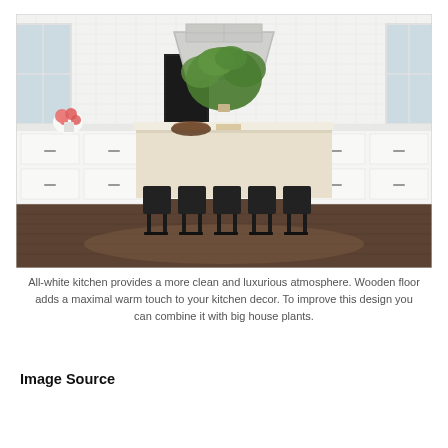[Figure (photo): A bright, all-white kitchen with subway tile walls, a large center island with white marble countertop, six black metal bar stools, a stainless range hood, dark hardwood floors, pink flowers on the counter, a large green plant on the island, and white cabinetry on both sides.]
All-white kitchen provides a more clean and luxurious atmosphere. Wooden floor adds a maximal warm touch to your kitchen decor. To improve this design you can combine it with big house plants.
Image Source